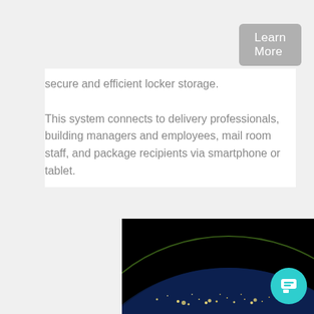Learn More
secure and efficient locker storage. This system connects to delivery professionals, building managers and employees, mail room staff, and package recipients via smartphone or tablet.
[Figure (photo): Aerial/satellite view of Earth from space at night, showing city lights glowing on the curved surface of the planet against a black background.]